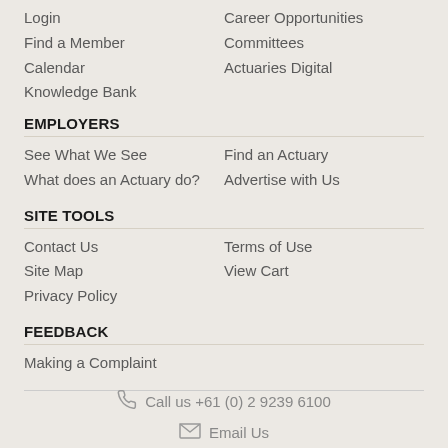Login
Career Opportunities
Find a Member
Committees
Calendar
Actuaries Digital
Knowledge Bank
EMPLOYERS
See What We See
Find an Actuary
What does an Actuary do?
Advertise with Us
SITE TOOLS
Contact Us
Terms of Use
Site Map
View Cart
Privacy Policy
FEEDBACK
Making a Complaint
Call us +61 (0) 2 9239 6100
Email Us